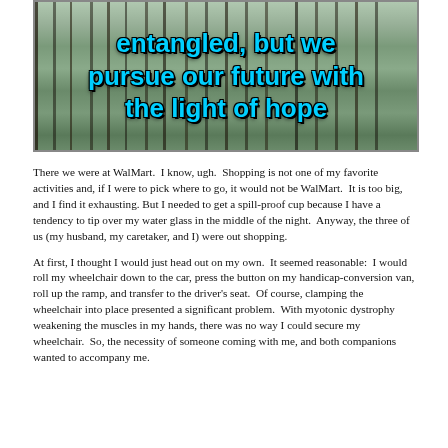[Figure (photo): Winter forest scene with snow-covered trees and branches. Overlaid with bold cyan/blue text reading: 'entangled, but we pursue our future with the light of hope']
There we were at WalMart.  I know, ugh.  Shopping is not one of my favorite activities and, if I were to pick where to go, it would not be WalMart.  It is too big, and I find it exhausting. But I needed to get a spill-proof cup because I have a tendency to tip over my water glass in the middle of the night.  Anyway, the three of us (my husband, my caretaker, and I) were out shopping.
At first, I thought I would just head out on my own.  It seemed reasonable:  I would roll my wheelchair down to the car, press the button on my handicap-conversion van, roll up the ramp, and transfer to the driver's seat.  Of course, clamping the wheelchair into place presented a significant problem.  With myotonic dystrophy weakening the muscles in my hands, there was no way I could secure my wheelchair.  So, the necessity of someone coming with me, and both companions wanted to accompany me.